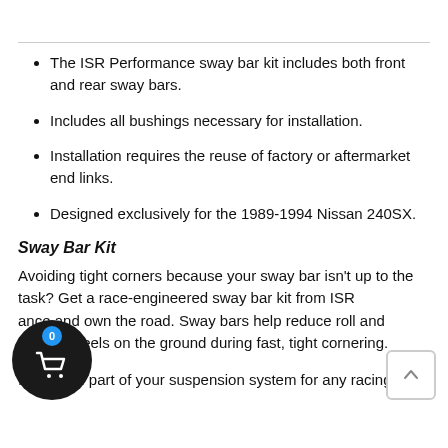The ISR Performance sway bar kit includes both front and rear sway bars.
Includes all bushings necessary for installation.
Installation requires the reuse of factory or aftermarket end links.
Designed exclusively for the 1989-1994 Nissan 240SX.
Sway Bar Kit
Avoiding tight corners because your sway bar isn't up to the task? Get a race-engineered sway bar kit from ISR ance and own the road. Sway bars help reduce roll and k wheels on the ground during fast, tight cornering.
It is a vital part of your suspension system for any racing or